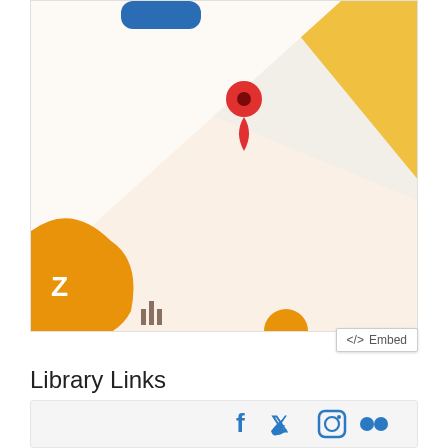[Figure (map): Google Maps style map view with a red location pin marker in the center, an orange map element on the left side, and a yellow area in the upper right. A light peach/cream diagonal road or area is visible. Blue navigation marker at top. Small map icons at bottom.]
</>  Embed
Library Links
[Figure (infographic): Social media icons row: Facebook, Twitter, Instagram, Flickr — all in blue color on a light gray background box.]